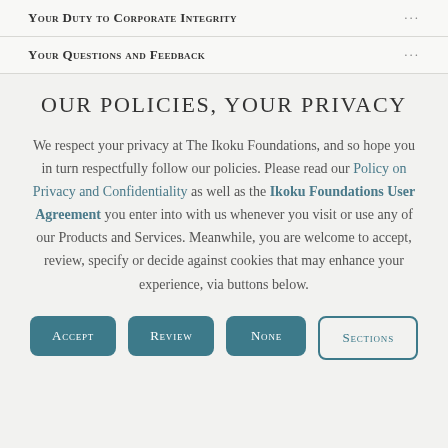Your Duty to Corporate Integrity
Your Questions and Feedback
OUR POLICIES, YOUR PRIVACY
We respect your privacy at The Ikoku Foundations, and so hope you in turn respectfully follow our policies. Please read our Policy on Privacy and Confidentiality as well as the Ikoku Foundations User Agreement you enter into with us whenever you visit or use any of our Products and Services. Meanwhile, you are welcome to accept, review, specify or decide against cookies that may enhance your experience, via buttons below.
Accept
Review
None
Sections